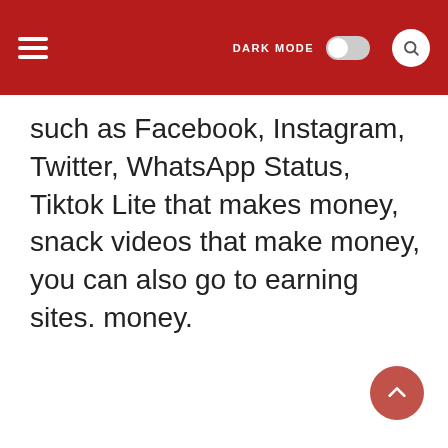DARK MODE [toggle] [search]
such as Facebook, Instagram, Twitter, WhatsApp Status, Tiktok Lite that makes money, snack videos that make money, you can also go to earning sites. money.